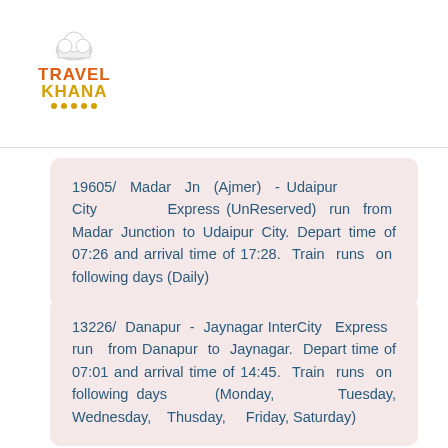[Figure (logo): TravelKhana logo with chef hat icon, TRAVEL in orange and KHANA in gold/yellow letters, with decorative dots underneath]
19605/ Madar Jn (Ajmer) - Udaipur City Express (UnReserved) run from Madar Junction to Udaipur City. Depart time of 07:26 and arrival time of 17:28. Train runs on following days (Daily)
13226/ Danapur - Jaynagar InterCity Express run from Danapur to Jaynagar. Depart time of 07:01 and arrival time of 14:45. Train runs on following days (Monday, Tuesday, Wednesday, Thusday, Friday, Saturday)